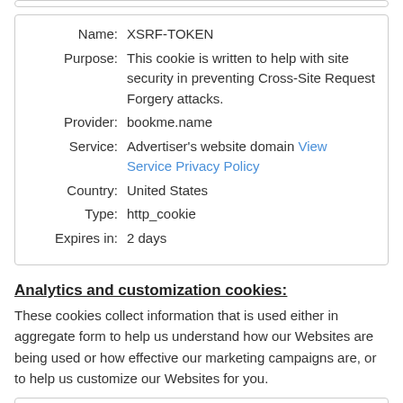| Field | Value |
| --- | --- |
| Name: | XSRF-TOKEN |
| Purpose: | This cookie is written to help with site security in preventing Cross-Site Request Forgery attacks. |
| Provider: | bookme.name |
| Service: | Advertiser's website domain View Service Privacy Policy |
| Country: | United States |
| Type: | http_cookie |
| Expires in: | 2 days |
Analytics and customization cookies:
These cookies collect information that is used either in aggregate form to help us understand how our Websites are being used or how effective our marketing campaigns are, or to help us customize our Websites for you.
| Field | Value |
| --- | --- |
| Name: | _ga |